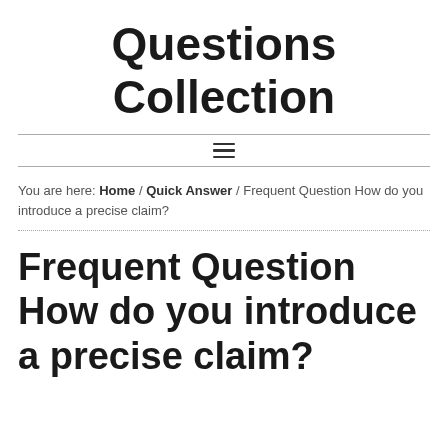Questions Collection
You are here: Home / Quick Answer / Frequent Question How do you introduce a precise claim?
Frequent Question How do you introduce a precise claim?